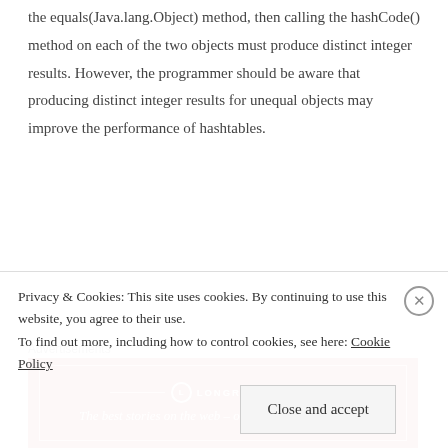the equals(Java.lang.Object) method, then calling the hashCode() method on each of the two objects must produce distinct integer results. However, the programmer should be aware that producing distinct integer results for unequal objects may improve the performance of hashtables.
Advertisements
[Figure (other): Longreads advertisement banner: red background with white border, Longreads logo and tagline 'The best stories on the web – ours, and everyone else's.']
Now, consider an example where the key used to store the in
Hashmap is an Integer. Consider that Integer class doesn't
Privacy & Cookies: This site uses cookies. By continuing to use this website, you agree to their use.
To find out more, including how to control cookies, see here: Cookie Policy